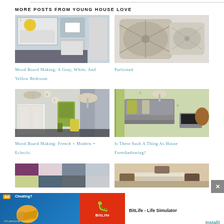MORE POSTS FROM YOUNG HOUSE LOVE
[Figure (photo): Mood board for a gray, white, and yellow bedroom interior design]
Mood Board Making: A Gray, White, And Yellow Bedroom
[Figure (photo): Gray/beige patterned decorative pillows on a light surface]
Purloined
[Figure (photo): Mood board for a French + Modern = Eclectic style room]
Mood Board Making: French + Modern = Eclectic
[Figure (photo): Living room mood board with gray sofa, green accents and TV]
Is There Such A Thing As House Foreshadowing?
[Figure (photo): Color palette swatches with purple, pink, gray, green tones]
[Figure (photo): Living room with dark furniture and colorful pillows]
[Figure (screenshot): BitLife - Life Simulator advertisement banner]